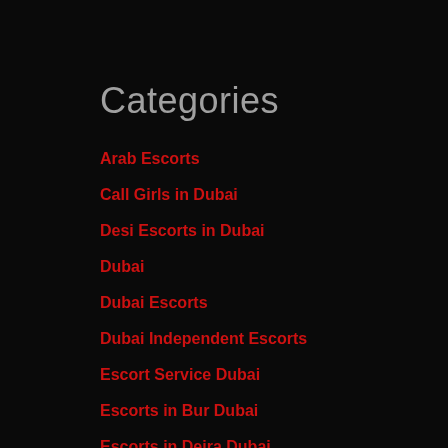Categories
Arab Escorts
Call Girls in Dubai
Desi Escorts in Dubai
Dubai
Dubai Escorts
Dubai Independent Escorts
Escort Service Dubai
Escorts in Bur Dubai
Escorts in Deira Dubai
Escorts in Dubai
Indian Escort Service in Dubai